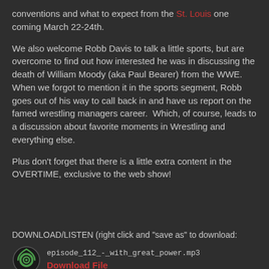conventions and what to expect from the St. Louis one coming March 22-24th.
We also welcome Robb Davis to talk a little sports, but are overcome to find out how interested he was in discussing the death of William Moody (aka Paul Bearer) from the WWE.  When we forgot to mention it in the sports segment, Robb goes out of his way to call back in and have us report on the famed wrestling managers career.  Which, of course, leads to a discussion about favorite moments in Wrestling and everything else.
Plus don't forget that there is a little extra content in the OVERTIME, exclusive to the web show!
DOWNLOAD/LISTEN (right click and "save as" to download:
episode_112_-_with_great_power.mp3
Download File